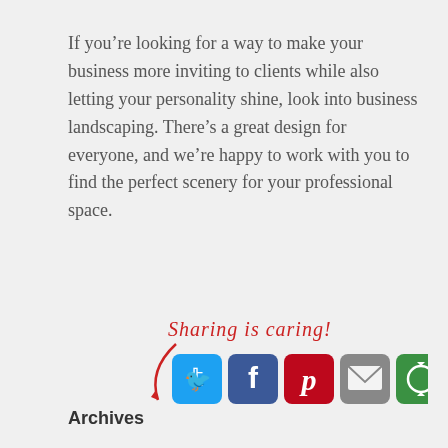If you’re looking for a way to make your business more inviting to clients while also letting your personality shine, look into business landscaping. There’s a great design for everyone, and we’re happy to work with you to find the perfect scenery for your professional space.
[Figure (infographic): Sharing is caring! text with arrow pointing to social media share buttons: Twitter (blue bird), Facebook (blue f), Pinterest (red P), Email (grey envelope), and a green circular share icon.]
Archives